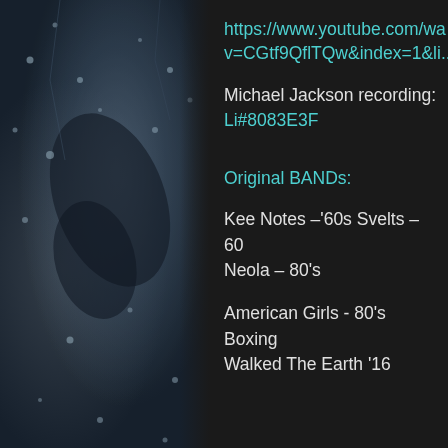[Figure (photo): Dark atmospheric photo of rain-covered glass or wet surface with blurred shapes behind it, bluish-grey tones]
https://www.youtube.com/watch?v=CGtf9QflTQw&index=1&li...
Michael Jackson recording: Li#8083E3F
Original BANDs:
Kee Notes –'60s Svelts – 60s Neola – 80's
American Girls - 80's Boxing Walked The Earth '16